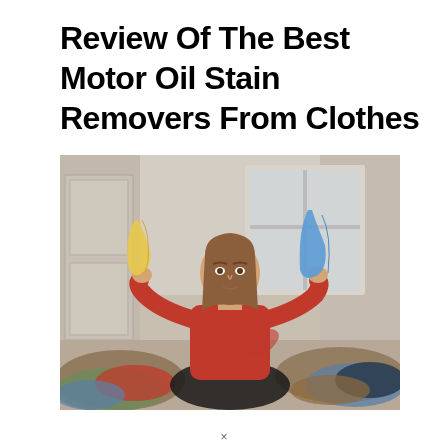Review Of The Best Motor Oil Stain Removers From Clothes
[Figure (photo): A young woman with long brown hair wearing a red top sits cross-legged on a floor surrounded by piles of laundry/clothes. She holds up a yellow garment in her left hand and a blue garment in her right hand. The background shows a room with large windows and white walls.]